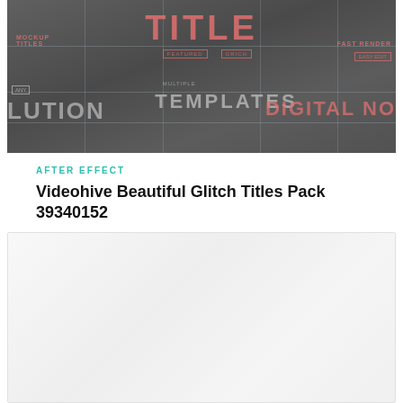[Figure (screenshot): A dark glitch-themed video template preview showing large stylized text 'TITLE', labels like 'MOCKUP TITLES', 'FEATURED', 'GRICH', 'FAST RENDER', 'EASY EDIT', 'ANY RESOLUTION', 'TEMPLATES', 'DIGITAL NO' with grid lines and pink/red text on dark gray background.]
AFTER EFFECT
Videohive Beautiful Glitch Titles Pack 39340152
[Figure (screenshot): A light gray/white nearly blank image area, likely a placeholder or loading second screenshot.]